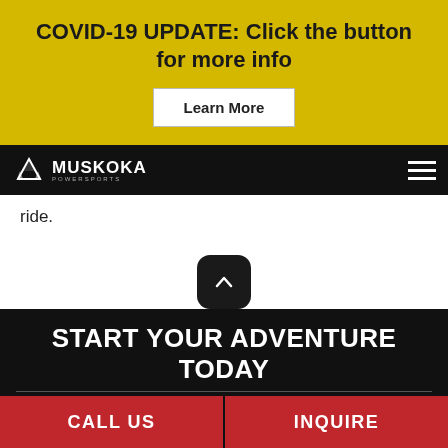COVID-19 UPDATE: Click the button for more info
Learn More
[Figure (logo): Muskoka logo with mountain silhouette and text 'MUSKOKA POWERSPORTS']
ride.
[Figure (illustration): Scroll-to-top button with upward chevron arrow, dark rounded square background]
START YOUR ADVENTURE TODAY
[Figure (illustration): Tree silhouette against dark background]
CALL US
INQUIRE